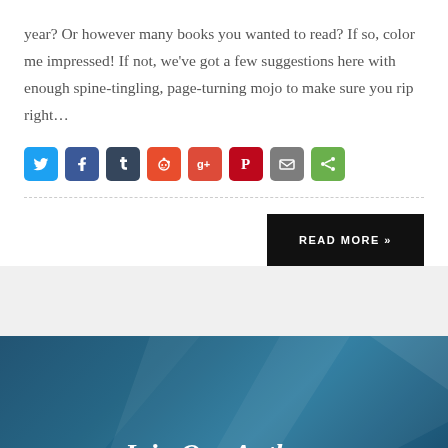year? Or however many books you wanted to read? If so, color me impressed! If not, we've got a few suggestions here with enough spine-tingling, page-turning mojo to make sure you rip right…
[Figure (infographic): Row of social sharing icon buttons: Twitter (blue), Facebook (dark blue), Tumblr (dark gray), Reddit (orange-red), Google+ (red), Pinterest (red), Email (gray), Share (green)]
READ MORE »
Join Our Authors